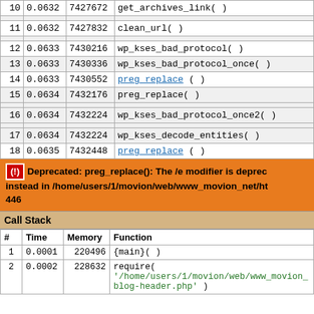| # | Time | Memory | Function |
| --- | --- | --- | --- |
| 10 | 0.0632 | 7427672 | get_archives_link() |
| 11 | 0.0632 | 7427832 | clean_url() |
| 12 | 0.0633 | 7430216 | wp_kses_bad_protocol() |
| 13 | 0.0633 | 7430336 | wp_kses_bad_protocol_once() |
| 14 | 0.0633 | 7430552 | preg_replace () |
| 15 | 0.0634 | 7432176 | preg_replace() |
| 16 | 0.0634 | 7432224 | wp_kses_bad_protocol_once2() |
| 17 | 0.0634 | 7432224 | wp_kses_decode_entities() |
| 18 | 0.0635 | 7432448 | preg_replace () |
Deprecated: preg_replace(): The /e modifier is deprecated, use preg_replace_callback instead in /home/users/1/movion/web/www_movion_net/ht... 446
Call Stack
| # | Time | Memory | Function |
| --- | --- | --- | --- |
| 1 | 0.0001 | 220496 | {main}() |
| 2 | 0.0002 | 228632 | require( '/home/users/1/movion/web/www_movion_ blog-header.php' ) |